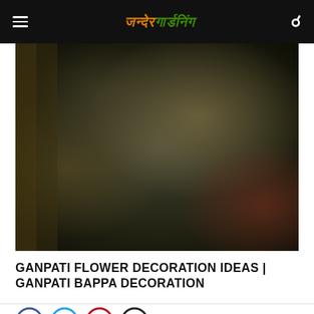India Gardening
[Figure (photo): Blurred dark image of Ganpati flower decoration, dim lighting with warm tones on the left and dark center, reddish tones on the right.]
GANPATI FLOWER DECORATION IDEAS | GANPATI BAPPA DECORATION